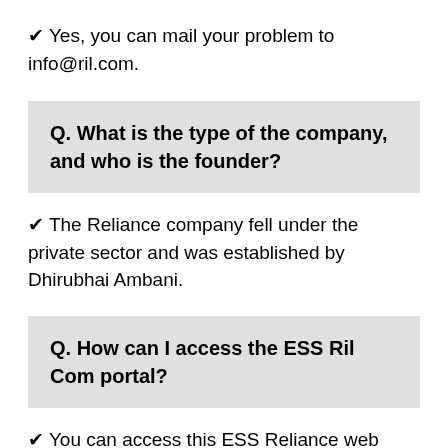✔ Yes, you can mail your problem to info@ril.com.
Q. What is the type of the company, and who is the founder?
✔ The Reliance company fell under the private sector and was established by Dhirubhai Ambani.
Q. How can I access the ESS Ril Com portal?
✔ You can access this ESS Reliance web